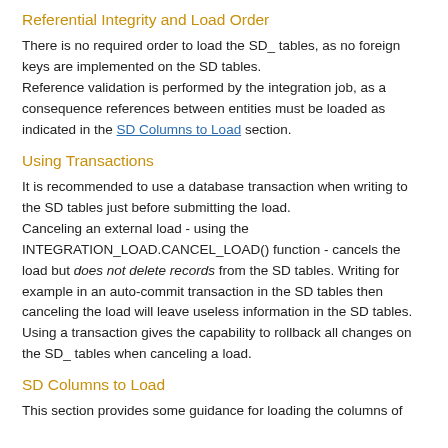Referential Integrity and Load Order
There is no required order to load the SD_ tables, as no foreign keys are implemented on the SD tables. Reference validation is performed by the integration job, as a consequence references between entities must be loaded as indicated in the SD Columns to Load section.
Using Transactions
It is recommended to use a database transaction when writing to the SD tables just before submitting the load. Canceling an external load - using the INTEGRATION_LOAD.CANCEL_LOAD() function - cancels the load but does not delete records from the SD tables. Writing for example in an auto-commit transaction in the SD tables then canceling the load will leave useless information in the SD tables. Using a transaction gives the capability to rollback all changes on the SD_ tables when canceling a load.
SD Columns to Load
This section provides some guidance for loading the columns of